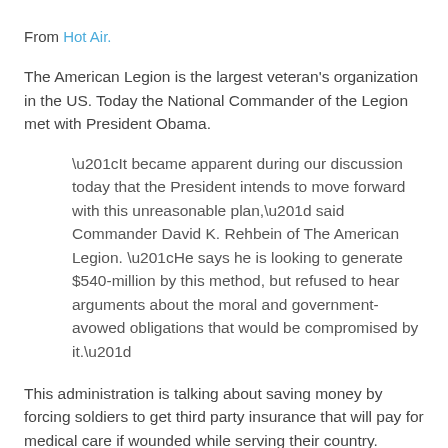From Hot Air.
The American Legion is the largest veteran's organization in the US. Today the National Commander of the Legion met with President Obama.
“It became apparent during our discussion today that the President intends to move forward with this unreasonable plan,” said Commander David K. Rehbein of The American Legion. “He says he is looking to generate $540-million by this method, but refused to hear arguments about the moral and government-avowed obligations that would be compromised by it.”
This administration is talking about saving money by forcing soldiers to get third party insurance that will pay for medical care if wounded while serving their country.
Billions to bail out irresponsible borrowers, bankers and